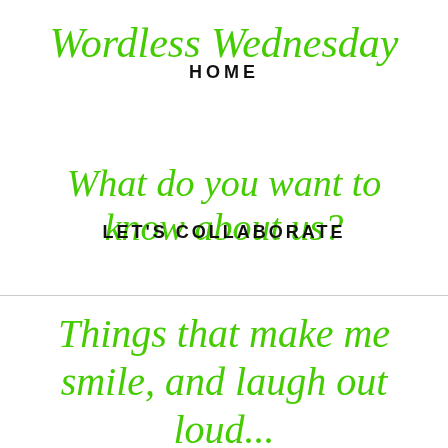Wordless Wednesday
HOME
What do you want to know about us?
LET'S COLLABORATE
Things that make me smile, and laugh out loud...
Our weekend in an instagram...
Our weekly meal plan...
Meal Planning....